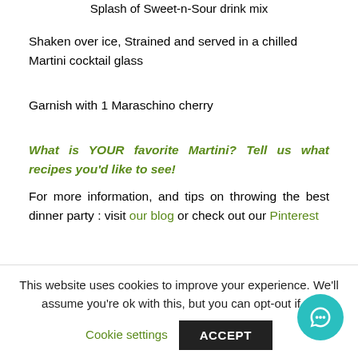Splash of Sweet-n-Sour drink mix
Shaken over ice, Strained and served in a chilled Martini cocktail glass
Garnish with 1 Maraschino cherry
What is YOUR favorite Martini? Tell us what recipes you'd like to see!
For more information, and tips on throwing the best dinner party : visit our blog or check out our Pinterest
This website uses cookies to improve your experience. We'll assume you're ok with this, but you can opt-out if yo
Cookie settings
ACCEPT